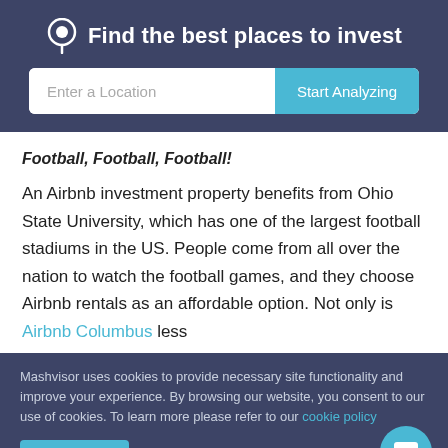Find the best places to invest
Football, Football, Football!
An Airbnb investment property benefits from Ohio State University, which has one of the largest football stadiums in the US. People come from all over the nation to watch the football games, and they choose Airbnb rentals as an affordable option. Not only is Airbnb Columbus less
Mashvisor uses cookies to provide necessary site functionality and improve your experience. By browsing our website, you consent to our use of cookies. To learn more please refer to our cookie policy
Accept
Reject